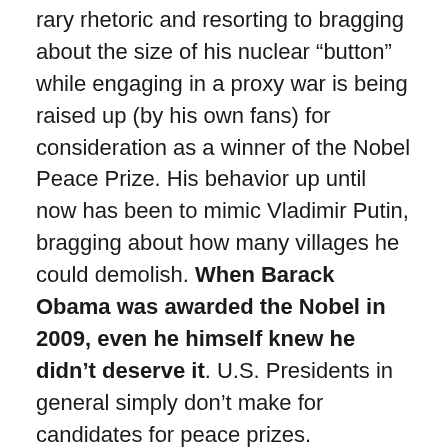rary rhetoric and resorting to bragging about the size of his nuclear “button” while engaging in a proxy war is being raised up (by his own fans) for consideration as a winner of the Nobel Peace Prize. His behavior up until now has been to mimic Vladimir Putin, bragging about how many villages he could demolish. When Barack Obama was awarded the Nobel in 2009, even he himself knew he didn’t deserve it. U.S. Presidents in general simply don’t make for candidates for peace prizes.
It’s no surprise that most everyone praising the current U.S. administration for the peace talks between the Koreas is ignoring the fact that North Korea’s only missile test site collapsed in April. Not only does the collapse signal a self-inflicted halt on N. Korea’s testing, the hazards of the collapse put China in danger of suffering from further tests, N. Korea’s only chance at an ally.